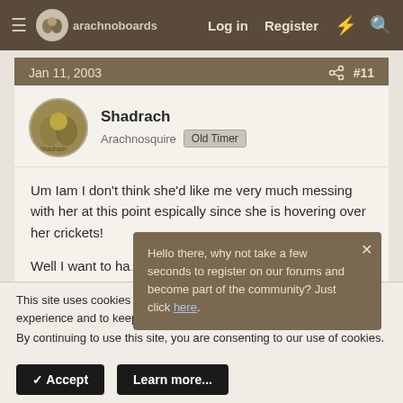arachnoboards — Log in  Register
Jan 11, 2003  #11
Shadrach
Arachnosquire  Old Timer
Um Iam I don't think she'd like me very much messing with her at this point espically since she is hovering over her crickets!

Well I want to ha... also my wife is s... around and is starting to let her curiousity ge... the better of her and she's starting to walk over and try to sneak a peek at the T! Who knows she may
Hello there, why not take a few seconds to register on our forums and become part of the community? Just click here.
This site uses cookies to help personalise content, tailor your experience and to keep you logged in if you register.
By continuing to use this site, you are consenting to our use of cookies.
✓ Accept    Learn more...